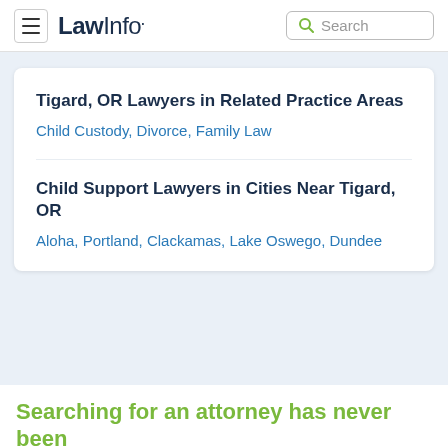LawInfo. Search
Tigard, OR Lawyers in Related Practice Areas
Child Custody, Divorce, Family Law
Child Support Lawyers in Cities Near Tigard, OR
Aloha, Portland, Clackamas, Lake Oswego, Dundee
Searching for an attorney has never been